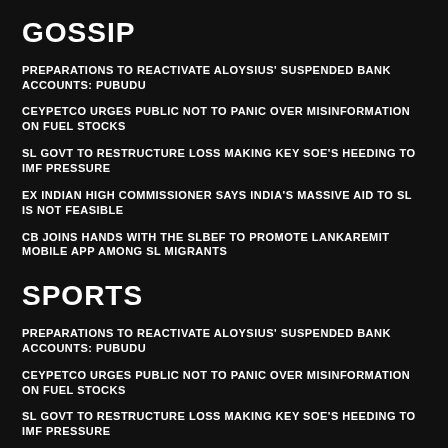GOSSIP
PREPARATIONS TO REACTIVATE ALOYSIUS' SUSPENDED BANK ACCOUNTS: PUBUDU
CEYPETCO URGES PUBLIC NOT TO PANIC OVER MISINFORMATION ON FUEL STOCKS
SL GOVT TO RESTRUCTURE LOSS MAKING KEY SOE'S HEEDING TO IMF PRESSURE
EX INDIAN HIGH COMMISSIONER SAYS INDIA'S MASSIVE AID TO SL IS NOT FEASIBLE
CB JOINS HANDS WITH THE SLBEF TO PROMOTE LANKAREMIT MOBILE APP AMONG SL MIGRANTS
SPORTS
PREPARATIONS TO REACTIVATE ALOYSIUS' SUSPENDED BANK ACCOUNTS: PUBUDU
CEYPETCO URGES PUBLIC NOT TO PANIC OVER MISINFORMATION ON FUEL STOCKS
SL GOVT TO RESTRUCTURE LOSS MAKING KEY SOE'S HEEDING TO IMF PRESSURE